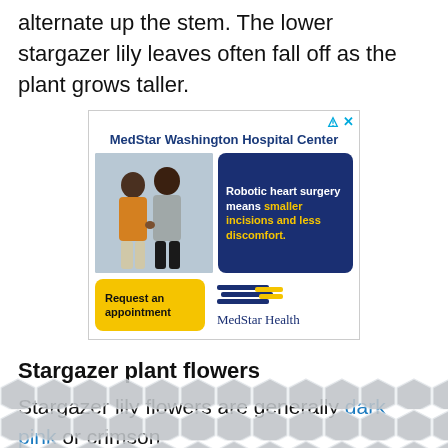alternate up the stem. The lower stargazer lily leaves often fall off as the plant grows taller.
[Figure (screenshot): MedStar Washington Hospital Center advertisement featuring two people walking, a blue box with text about robotic heart surgery, a yellow appointment request button, and MedStar Health logo.]
Stargazer plant flowers
Stargazer lily flowers are generally dark pink or crimson ... s to the ed... ... tir